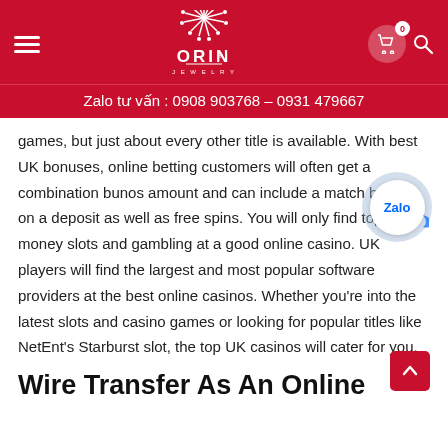ORIN — Zalo tư vấn : 0908 903768 – 0931 479667
games, but just about every other title is available. With best UK bonuses, online betting customers will often get a combination bunos amount and can include a match bonus on a deposit as well as free spins. You will only find top real money slots and gambling at a good online casino. UK players will find the largest and most popular software providers at the best online casinos. Whether you're into the latest slots and casino games or looking for popular titles like NetEnt's Starburst slot, the top UK casinos will cater for you.
Wire Transfer As An Online